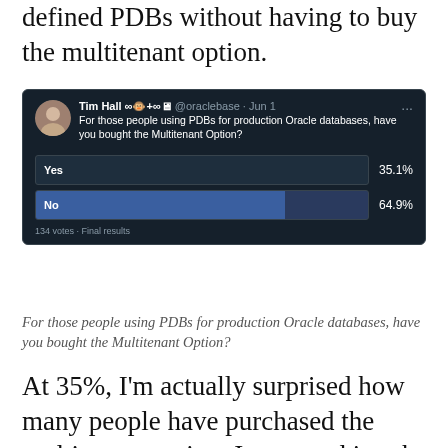defined PDBs without having to buy the multitenant option.
[Figure (screenshot): A Twitter/X poll by Tim Hall (@oraclebase) dated Jun 1, asking 'For those people using PDBs for production Oracle databases, have you bought the Multitenant Option?' Results: Yes 35.1%, No 64.9%, 134 votes · Final results.]
For those people using PDBs for production Oracle databases, have you bought the Multitenant Option?
At 35%, I'm actually surprised how many people have purchased the multitenant option. I expected it to be a lot lower. Don't get me wrong, I think the multitenant architecture is fine. I've been advocating for people to switch to it and use lone-pdb since it was introduced